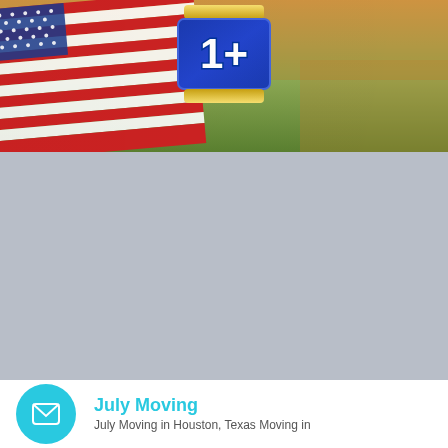[Figure (photo): A person holding an American flag in a field at sunset, with a blue badge showing '1+' overlaid in the center top area, against a golden-hour background with green fields.]
[Figure (photo): Gray placeholder image area, likely an advertisement or secondary image block.]
July Moving
July Moving in Houston, Texas Moving in